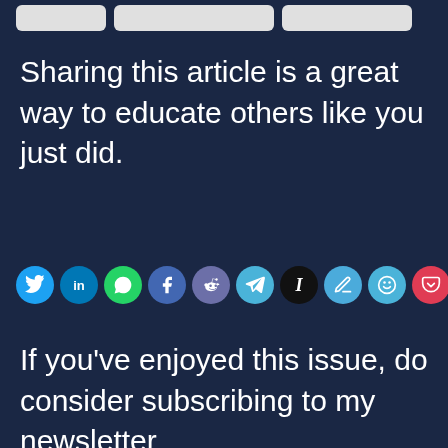[Figure (screenshot): Top navigation bar with three partially visible buttons/tabs]
Sharing this article is a great way to educate others like you just did.
[Figure (infographic): Row of social sharing icon buttons: Twitter, LinkedIn, WhatsApp, Facebook, Reddit, Telegram, Instapaper, pen/edit, smile, Pocket, Email]
If you’ve enjoyed this issue, do consider subscribing to my newsletter